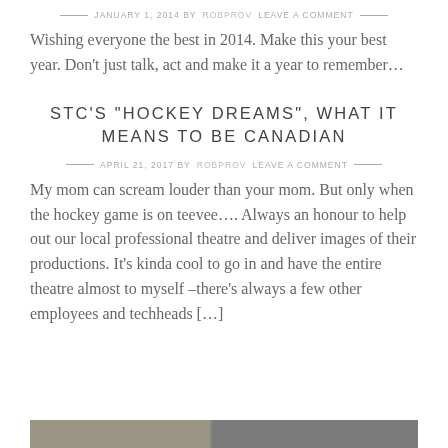— JANUARY 1, 2014 BY ROBPROV LEAVE A COMMENT —
Wishing everyone the best in 2014. Make this your best year. Don't just talk, act and make it a year to remember…
STC'S "HOCKEY DREAMS", WHAT IT MEANS TO BE CANADIAN
— APRIL 21, 2017 BY ROBPROV LEAVE A COMMENT —
My mom can scream louder than your mom. But only when the hockey game is on teevee…. Always an honour to help out our local professional theatre and deliver images of their productions. It's kinda cool to go in and have the entire theatre almost to myself –there's always a few other employees and techheads […]
[Figure (photo): Partial thumbnail image at bottom of page]